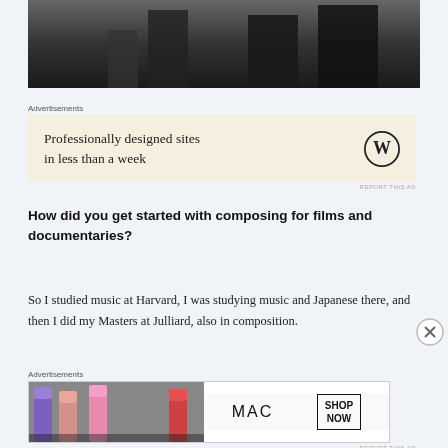[Figure (photo): Black and white photo showing legs/lower body of person(s) in dark clothing, cropped at top of page]
[Figure (other): Advertisement banner: 'Professionally designed sites in less than a week' with WordPress logo on cream background]
How did you get started with composing for films and documentaries?
So I studied music at Harvard, I was studying music and Japanese there, and then I did my Masters at Julliard, also in composition.
[Figure (other): MAC Cosmetics advertisement showing lipsticks in purple, peach, pink, red colors with MAC logo and 'SHOP NOW' call to action]